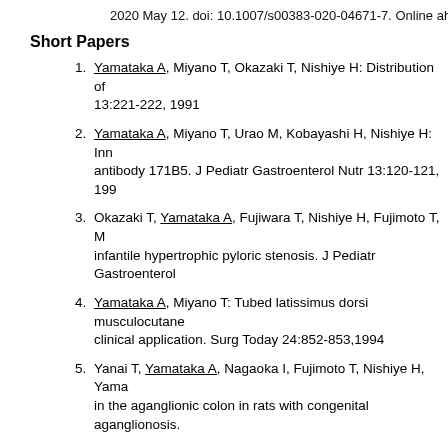2020 May 12. doi: 10.1007/s00383-020-04671-7. Online ahea
Short Papers
Yamataka A, Miyano T, Okazaki T, Nishiye H: Distribution of ... 13:221-222, 1991
Yamataka A, Miyano T, Urao M, Kobayashi H, Nishiye H: Inn... antibody 171B5. J Pediatr Gastroenterol Nutr 13:120-121, 199
Okazaki T, Yamataka A, Fujiwara T, Nishiye H, Fujimoto T, M... infantile hypertrophic pyloric stenosis. J Pediatr Gastroenterol
Yamataka A, Miyano T: Tubed latissimus dorsi musculocutane... clinical application. Surg Today 24:852-853,1994
Yanai T, Yamataka A, Nagaoka I, Fujimoto T, Nishiye H, Yama... in the aganglionic colon in rats with congenital aganglionosis.
Yamataka A, Kato Y, Fujiwara T, Yagita H, Okumura K, Sunag... ICAM-1 on fetal bowel allo- and xeno-transplantation in mice.
Yamataka A, Kobayashi H, Oshiro K, Fujiwara T, Nishiye H, N... of patients with Hirschsprung's disease and allied disorders. Jp
Kaneko K, Wong K, Yamataka A, Ohtomo Y, Yamashiro Y, Mi... still inappropriate? Nephron 86:376-377, 2000
Kaneko K, Yamashiro Y, Yamataka A, Miyano T: Nephrectom...